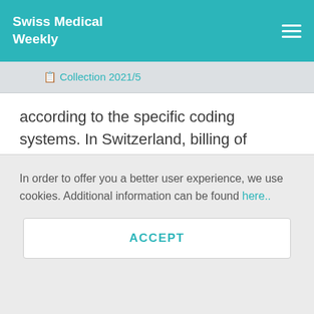Swiss Medical Weekly
📋 Collection 2021/5
according to the specific coding systems. In Switzerland, billing of medical services uses the Tarmed price-scale fixing system [17] and billing of laboratory items the analysis list annually approved by the Federal Office of Public Health [18]. Billing items can also be entered as free text (for example, a
In order to offer you a better user experience, we use cookies. Additional information can be found here..
ACCEPT